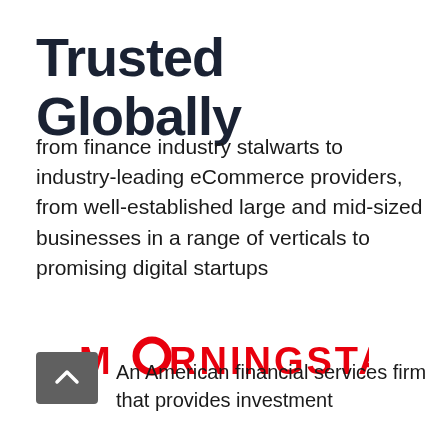Trusted Globally
from finance industry stalwarts to industry-leading eCommerce providers, from well-established large and mid-sized businesses in a range of verticals to promising digital startups
[Figure (logo): Morningstar logo in red with stylized M and circular O shape]
An American financial services firm that provides investment